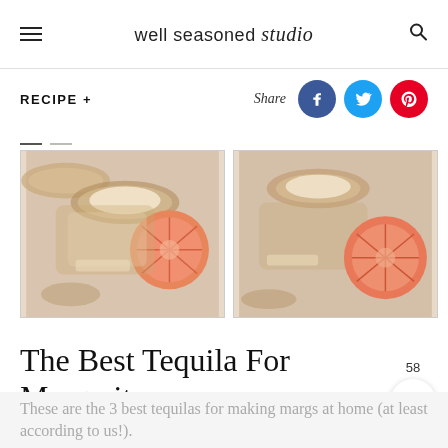well seasoned studio
RECIPE +
[Figure (photo): Two margarita glasses with grapefruit slices viewed from above, side-by-side carousel images]
The Best Tequila For Margaritas
58
These are the 3 best tequilas for making margs at home (at least according to us!).